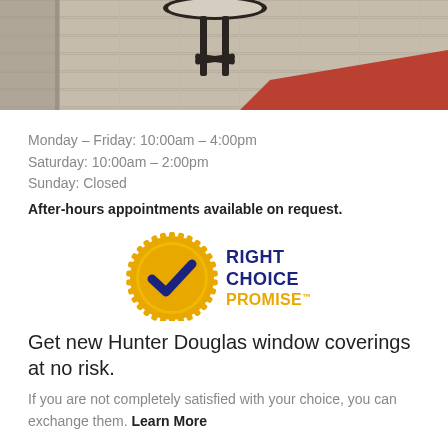[Figure (photo): Interior photo showing a dark round side table on patterned wood-look flooring with an orange/red rug visible in the corner]
Monday – Friday: 10:00am – 4:00pm
Saturday: 10:00am – 2:00pm
Sunday: Closed
After-hours appointments available on request.
[Figure (logo): Right Choice Promise logo — gold medallion seal with dark blue checkmark and text RIGHT CHOICE PROMISE with trademark symbol]
Get new Hunter Douglas window coverings at no risk.
If you are not completely satisfied with your choice, you can exchange them. Learn More